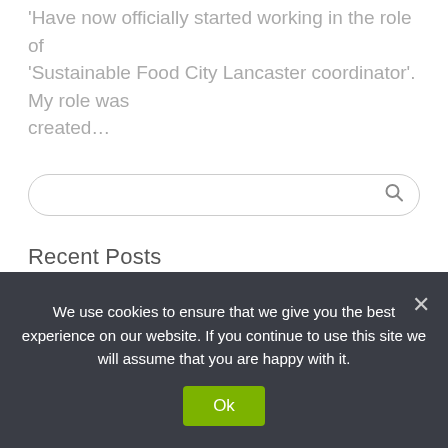'Have now officially started working in the role of 'Sustainable Food City Lancaster coordinator'. My role was created…
[Figure (other): Search input box with a magnifying glass icon on the right, rounded border]
Recent Posts
The Wonders of Creation
We use cookies to ensure that we give you the best experience on our website. If you continue to use this site we will assume that you are happy with it.
Ok